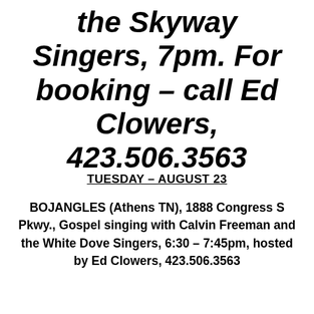the Skyway Singers, 7pm. For booking – call Ed Clowers, 423.506.3563
TUESDAY – AUGUST 23
BOJANGLES (Athens TN), 1888 Congress S Pkwy., Gospel singing with Calvin Freeman and the White Dove Singers, 6:30 – 7:45pm, hosted by Ed Clowers, 423.506.3563